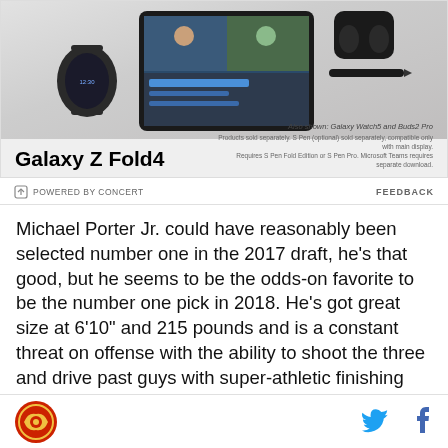[Figure (photo): Samsung Galaxy Z Fold4 advertisement showing the device alongside a smartwatch, earbuds, and stylus pen. People visible on the phone screen in a video call.]
POWERED BY CONCERT
FEEDBACK
Michael Porter Jr. could have reasonably been selected number one in the 2017 draft, he's that good, but he seems to be the odds-on favorite to be the number one pick in 2018. He's got great size at 6'10" and 215 pounds and is a constant threat on offense with the ability to shoot the three and drive past guys with super-athletic finishing ability. In short, Porter Jr. is forecast to become a superstar at the next level and
[Figure (logo): Sports team logo - circular red and gold emblem]
[Figure (logo): Twitter bird icon in blue]
[Figure (logo): Facebook f icon in blue]